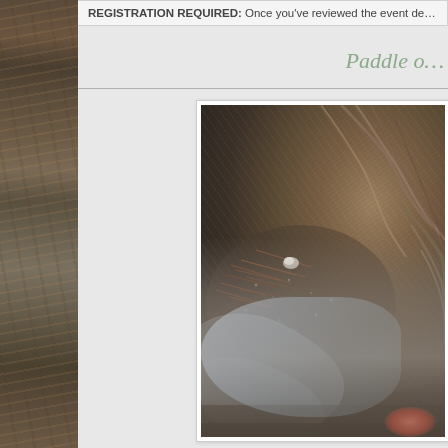REGISTRATION REQUIRED: Once you've reviewed the event de…
Paddle o…
[Figure (photo): Close-up photograph of driftwood, sand, gravel, pine needles, and ice/water on a beach or shoreline. The image shows natural textures including weathered wood grain, wet sand, scattered pine needles, and what appears to be a translucent icy or watery surface over the ground.]